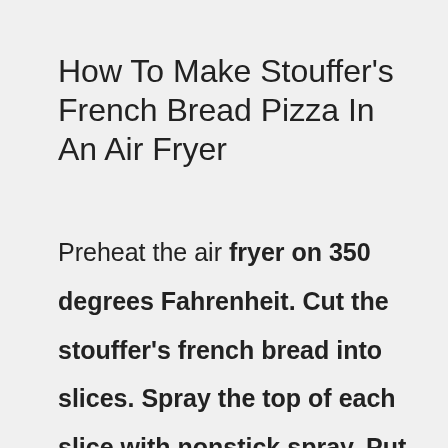How To Make Stouffer's French Bread Pizza In An Air Fryer
Preheat the air fryer on 350 degrees Fahrenheit. Cut the stouffer's french bread into slices. Spray the top of each slice with nonstick spray. Put the slices into the air fryer